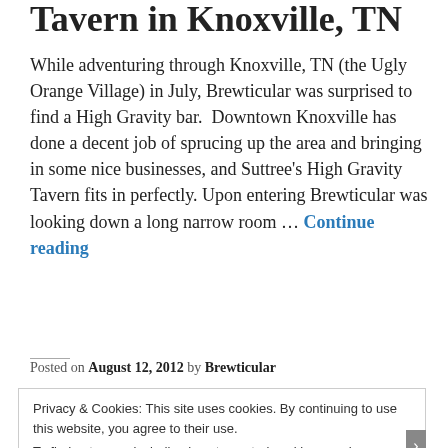Tavern in Knoxville, TN
While adventuring through Knoxville, TN (the Ugly Orange Village) in July, Brewticular was surprised to find a High Gravity bar.  Downtown Knoxville has done a decent job of sprucing up the area and bringing in some nice businesses, and Suttree's High Gravity Tavern fits in perfectly. Upon entering Brewticular was looking down a long narrow room … Continue reading
Posted on August 12, 2012 by Brewticular
Privacy & Cookies: This site uses cookies. By continuing to use this website, you agree to their use.
To find out more, including how to control cookies, see here: Cookie Policy